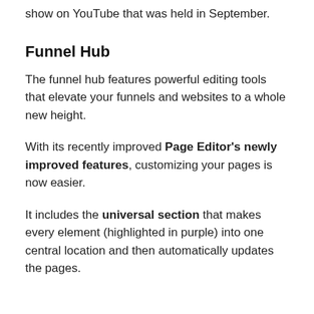show on YouTube that was held in September.
Funnel Hub
The funnel hub features powerful editing tools that elevate your funnels and websites to a whole new height.
With its recently improved Page Editor's newly improved features, customizing your pages is now easier.
It includes the universal section that makes every element (highlighted in purple) into one central location and then automatically updates the pages.